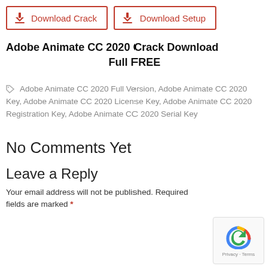[Figure (other): Two red-bordered download buttons: 'Download Crack' and 'Download Setup' with download icons]
Adobe Animate CC 2020 Crack Download Full FREE
Adobe Animate CC 2020 Full Version, Adobe Animate CC 2020 Key, Adobe Animate CC 2020 License Key, Adobe Animate CC 2020 Registration Key, Adobe Animate CC 2020 Serial Key
No Comments Yet
Leave a Reply
Your email address will not be published. Required fields are marked *
[Figure (other): reCAPTCHA widget with privacy and terms links]